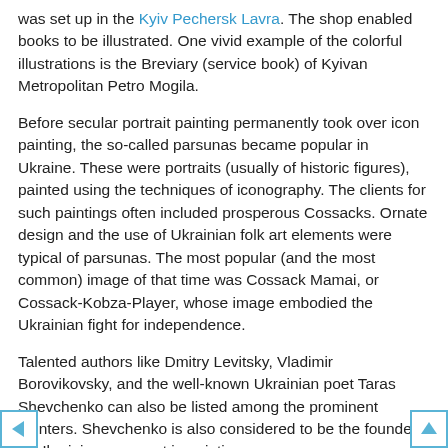was set up in the Kyiv Pechersk Lavra. The shop enabled books to be illustrated. One vivid example of the colorful illustrations is the Breviary (service book) of Kyivan Metropolitan Petro Mogila.
Before secular portrait painting permanently took over icon painting, the so-called parsunas became popular in Ukraine. These were portraits (usually of historic figures), painted using the techniques of iconography. The clients for such paintings often included prosperous Cossacks. Ornate design and the use of Ukrainian folk art elements were typical of parsunas. The most popular (and the most common) image of that time was Cossack Mamai, or Cossack-Kobza-Player, whose image embodied the Ukrainian fight for independence.
Talented authors like Dmitry Levitsky, Vladimir Borovikovsky, and the well-known Ukrainian poet Taras Shevchenko can also be listed among the prominent painters. Shevchenko is also considered to be the founder of Ukrainian genre art in painting.
Ilya Repin, who created the famous picture 'Reply of the Zaporozhian Cossacks to Sultan Mehmed IV of the Ottoman Empire,' and the excellent seascape painter Ivan Aivazovsky